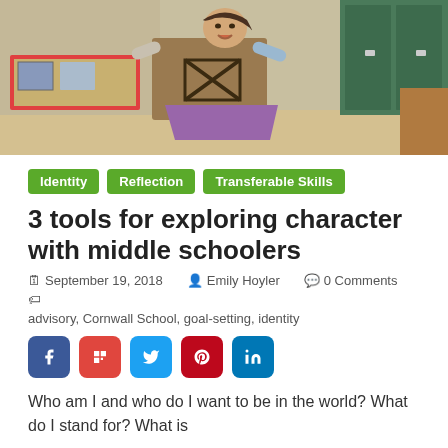[Figure (photo): A girl in a classroom holding up a cardboard sign with a drawing, smiling/laughing. Colorful artwork visible in the background on bulletin boards.]
Identity
Reflection
Transferable Skills
3 tools for exploring character with middle schoolers
September 19, 2018   Emily Hoyler   0 Comments
advisory, Cornwall School, goal-setting, identity
[Figure (infographic): Social sharing buttons: Facebook (blue), Flipboard (red), Twitter (light blue), Pinterest (red), LinkedIn (blue)]
Who am I and who do I want to be in the world? What do I stand for? What is
Read more